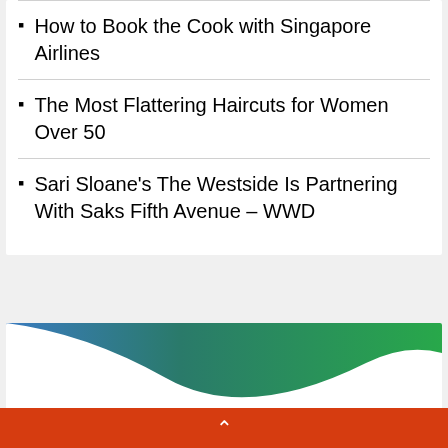How to Book the Cook with Singapore Airlines
The Most Flattering Haircuts for Women Over 50
Sari Sloane's The Westside Is Partnering With Saks Fifth Avenue – WWD
[Figure (illustration): Decorative banner with blue to green gradient sweep design on white background]
^